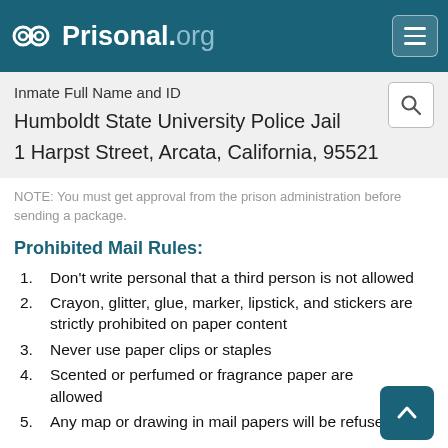Prisonal.org
Inmate Full Name and ID
Humboldt State University Police Jail
1 Harpst Street, Arcata, California, 95521
NOTE: You must get approval from the prison administration before sending a package.
Prohibited Mail Rules:
Don't write personal that a third person is not allowed
Crayon, glitter, glue, marker, lipstick, and stickers are strictly prohibited on paper content
Never use paper clips or staples
Scented or perfumed or fragrance paper are allowed
Any map or drawing in mail papers will be refused